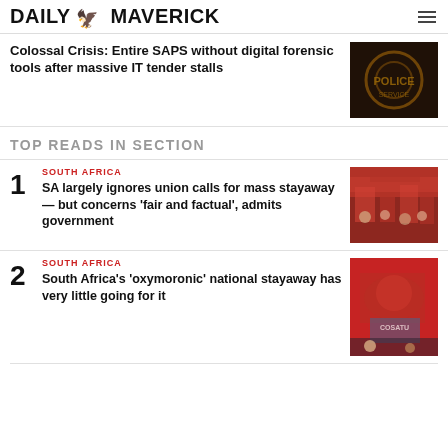DAILY MAVERICK
Colossal Crisis: Entire SAPS without digital forensic tools after massive IT tender stalls
TOP READS IN SECTION
1
SOUTH AFRICA
SA largely ignores union calls for mass stayaway — but concerns 'fair and factual', admits government
2
SOUTH AFRICA
South Africa's 'oxymoronic' national stayaway has very little going for it